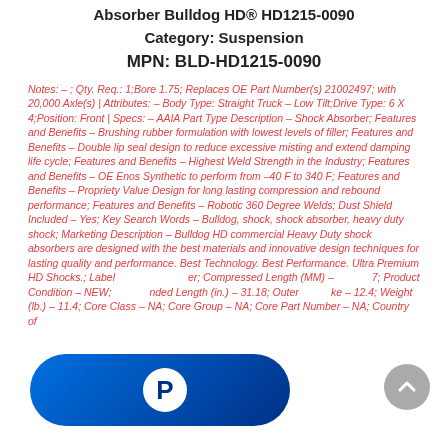Absorber Bulldog HD® HD1215-0090
Category: Suspension
MPN: BLD-HD1215-0090
Notes: – ; Qty. Req.: 1;Bore 1.75; Replaces OE Part Number(s) 21002497; with 20,000 Axle(s) | Attributes: – Body Type: Straight Truck – Low Tilt;Drive Type: 6 X 4;Position: Front | Specs: – AAIA Part Type Description – Shock Absorber; Features and Benefits – Brushing rubber formulation with lowest levels of filler; Features and Benefits – Double lip seal design to reduce excessive misting and extend damping life cycle; Features and Benefits – Highest Weld Strength in the Industry; Features and Benefits – OE Enos Synthetic to perform from –40 F to 340 F; Features and Benefits – Propriety Value Design for long lasting compression and rebound performance; Features and Benefits – Robotic 360 Degree Welds; Dust Shield Included – Yes; Key Search Words – Bulldog, shock, shock absorber, heavy duty shock; Marketing Description – Bulldog HD commercial Heavy Duty shock absorbers are designed with the best materials and innovative design techniques for lasting quality and performance. Best Technology. Best Performance. Ultra Premium HD Shocks.; Label ...; Compressed Length (MM) – ...7; Product Condition – NEW; ...nded Length (in.) – 31.18; Outer ...ke – 12.4; Weight (lb.) – 11.4; Core Class – NA; Core Group – NA; Core Part Number – NA; Country of